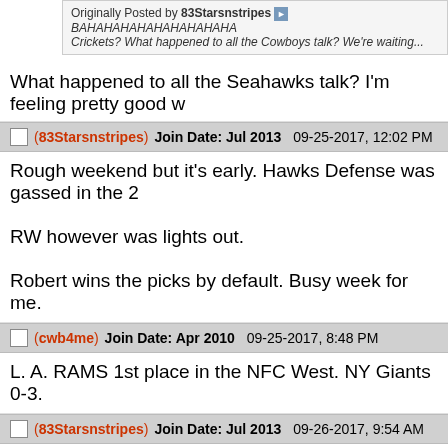Originally Posted by 83Starsnstripes
BAHAHAHAHAHAHAHAHA
Crickets? What happened to all the Cowboys talk? We're waiting...
What happened to all the Seahawks talk? I'm feeling pretty good w
(83Starsnstripes) Join Date: Jul 2013   09-25-2017, 12:02 PM
Rough weekend but it's early. Hawks Defense was gassed in the 2

RW however was lights out.

Robert wins the picks by default. Busy week for me.
(cwb4me) Join Date: Apr 2010   09-25-2017, 8:48 PM
L. A. RAMS 1st place in the NFC West. NY Giants 0-3.
(83Starsnstripes) Join Date: Jul 2013   09-26-2017, 9:54 AM
Thank your Cowboys for taking care of the Cards last night. Much a
Rams have played the 49ers, DC, and the Colts. Not exactly worrie
(cwb4me) Join Date: Apr 2010   09-26-2017, 6:38 PM
Seattle lost to Tennessee and the Packers. They only beat Santa C
(onlyinboards) Join Date: Oct 2014   09-27-2017, 6:59 AM
Meanwhile, the Chiefs have taken down the defending Champs, th
(83Starsnstripes) Join Date: Jul 2013   09-27-2017, 9:21 AM
Quote: